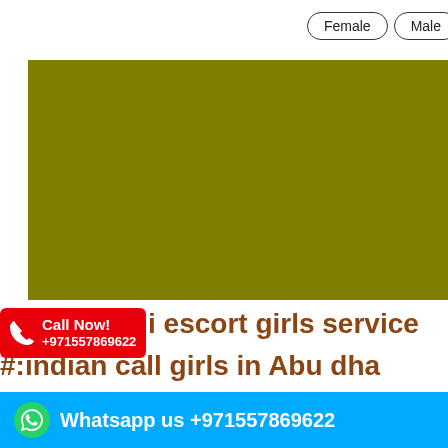Female  Male
[Figure (photo): Olive/dark yellow-green colored rectangular image block]
Call Now! +971557869622  i escort girls service #:indian call girls in Abu dhabi
Whatsapp us +971557869622